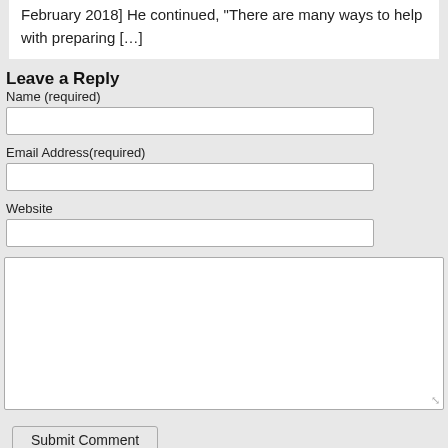February 2018] He continued, "There are many ways to help with preparing […]
Leave a Reply
Name (required)
Email Address(required)
Website
Submit Comment